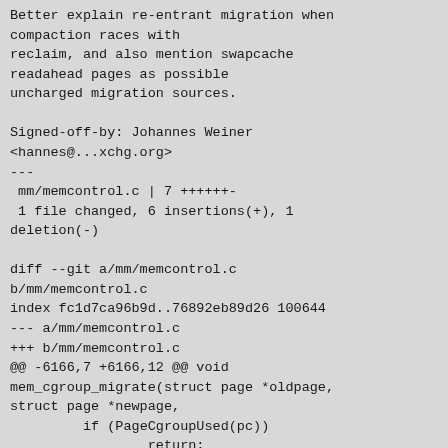Better explain re-entrant migration when compaction races with reclaim, and also mention swapcache readahead pages as possible uncharged migration sources.

Signed-off-by: Johannes Weiner <hannes@...xchg.org>
---
 mm/memcontrol.c | 7 ++++++- 
 1 file changed, 6 insertions(+), 1 deletion(-)

diff --git a/mm/memcontrol.c b/mm/memcontrol.c
index fc1d7ca96b9d..76892eb89d26 100644
--- a/mm/memcontrol.c
+++ b/mm/memcontrol.c
@@ -6166,7 +6166,12 @@ void mem_cgroup_migrate(struct page *oldpage, struct page *newpage,
         if (PageCgroupUsed(pc))
                 return;

-        /* Re-entrant migration: old page